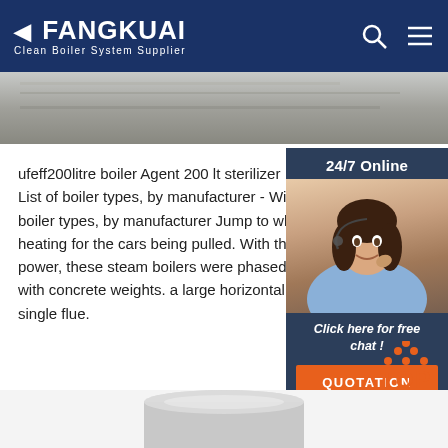FANGKUAI Clean Boiler System Supplier
[Figure (photo): Industrial photo band showing equipment, gray tones]
ufeff200litre boiler Agent 200 lt sterilizer List of boiler types, by manufacturer - Wikiped. boiler types, by manufacturer Jump to where ste heating for the cars being pulled. With the adve power, these steam boilers were phased out, oft with concrete weights. a large horizontal station single flue.
[Figure (photo): 24/7 Online chat widget with female customer service representative photo, Click here for free chat!, QUOTATION button]
[Figure (other): TOP navigation button with orange dots above orange TOP text]
[Figure (photo): Bottom partial product image - boiler equipment]